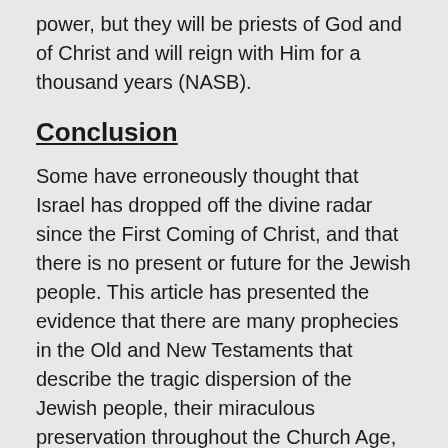power, but they will be priests of God and of Christ and will reign with Him for a thousand years (NASB).
Conclusion
Some have erroneously thought that Israel has dropped off the divine radar since the First Coming of Christ, and that there is no present or future for the Jewish people. This article has presented the evidence that there are many prophecies in the Old and New Testaments that describe the tragic dispersion of the Jewish people, their miraculous preservation throughout the Church Age, and their equally miraculous restoration of Israel as a nation among the family of nations. Jewish Zionists and Christian Zionists have played a significant role over the past few centuries in these remarkable developments.